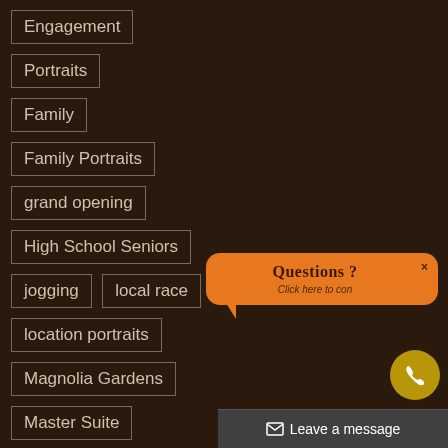Engagement
Portraits
Family
Family Portraits
grand opening
High School Seniors
jogging
local race
location portraits
Magnolia Gardens
Master Suite
Military Portrait
[Figure (screenshot): Chat widget with orange speech bubble showing 'Questions ? Click here to con...' with a phone button and 'Leave a message' bar]